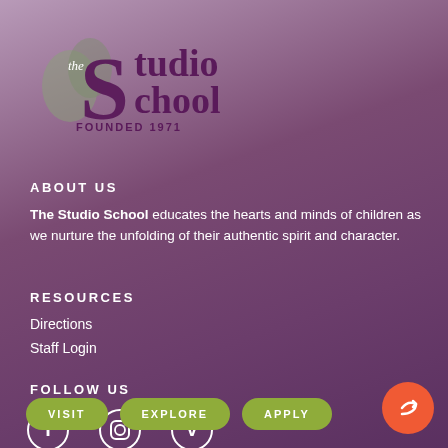[Figure (logo): The Studio School logo with leaf/circle motif, 'the Studio School' text in purple, 'FOUNDED 1971' below]
ABOUT US
The Studio School educates the hearts and minds of children as we nurture the unfolding of their authentic spirit and character.
RESOURCES
Directions
Staff Login
FOLLOW US
[Figure (infographic): Social media icons: Facebook, Instagram, Vimeo]
VISIT  EXPLORE  APPLY